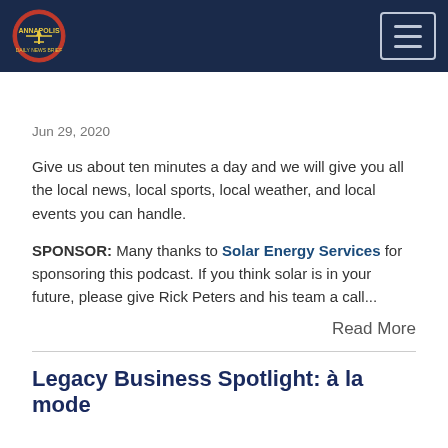Annapolis Star News Brief — Navigation bar with logo and hamburger menu
Jun 29, 2020
Give us about ten minutes a day and we will give you all the local news, local sports, local weather, and local events you can handle.
SPONSOR: Many thanks to Solar Energy Services for sponsoring this podcast. If you think solar is in your future, please give Rick Peters and his team a call...
Read More
Legacy Business Spotlight: à la mode